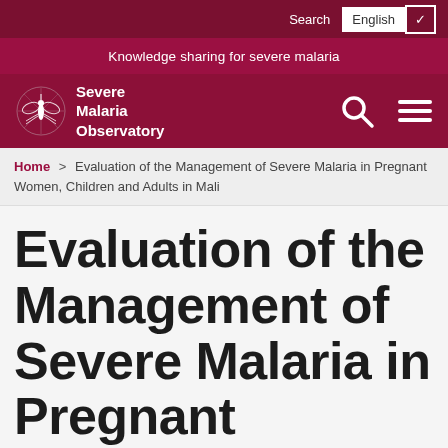Search  English
Knowledge sharing for severe malaria
[Figure (logo): Severe Malaria Observatory logo with mosquito icon and text: Severe Malaria Observatory]
Home > Evaluation of the Management of Severe Malaria in Pregnant Women, Children and Adults in Mali
Evaluation of the Management of Severe Malaria in Pregnant Women, Children and Adults in